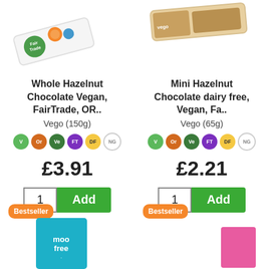[Figure (photo): Partial product image of Whole Hazelnut Chocolate Vegan FairTrade bar (top left)]
[Figure (photo): Partial product image of Mini Hazelnut Chocolate dairy free Vegan bar (top right)]
Whole Hazelnut Chocolate Vegan, FairTrade, OR..
Mini Hazelnut Chocolate dairy free, Vegan, Fa..
Vego (150g)
Vego (65g)
£3.91
£2.21
[Figure (photo): Bestseller badge and Moo Free product packaging (bottom left)]
[Figure (photo): Bestseller badge and pink product packaging (bottom right)]